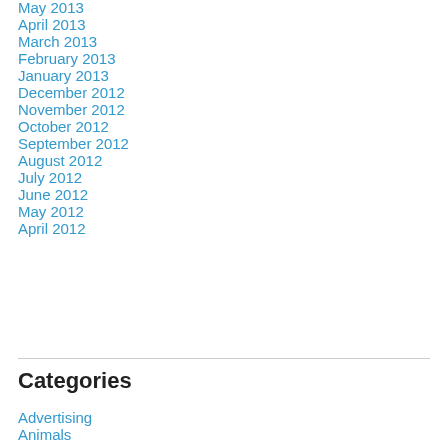May 2013
April 2013
March 2013
February 2013
January 2013
December 2012
November 2012
October 2012
September 2012
August 2012
July 2012
June 2012
May 2012
April 2012
Categories
Advertising
Animals